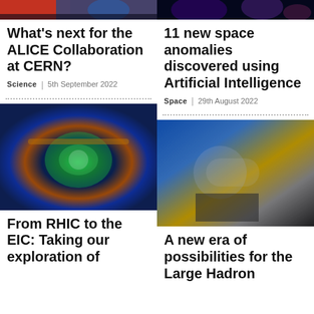[Figure (photo): Top cropped portion of a science/space image with red and blue tones (ALICE/CERN related)]
[Figure (photo): Top cropped portion of a space nebula image with purple and blue tones]
What's next for the ALICE Collaboration at CERN?
Science | 5th September 2022
11 new space anomalies discovered using Artificial Intelligence
Space | 29th August 2022
[Figure (photo): Aerial/overhead view of the ALICE detector at CERN with green and colorful mechanical components]
[Figure (photo): Man standing in front of the Large Hadron Collider machinery with blue and gold components]
From RHIC to the EIC: Taking our exploration of
A new era of possibilities for the Large Hadron